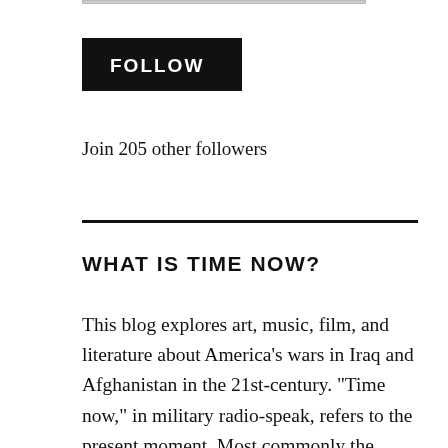[Figure (other): Top border/line element at the top of the page]
FOLLOW
Join 205 other followers
WHAT IS TIME NOW?
This blog explores art, music, film, and literature about America’s wars in Iraq and Afghanistan in the 21st-century. “Time now,” in military radio-speak, refers to the present moment. Most commonly the phrase is used in reports such as, “We’re returning to base, time now,” or, “Request artillery support, time